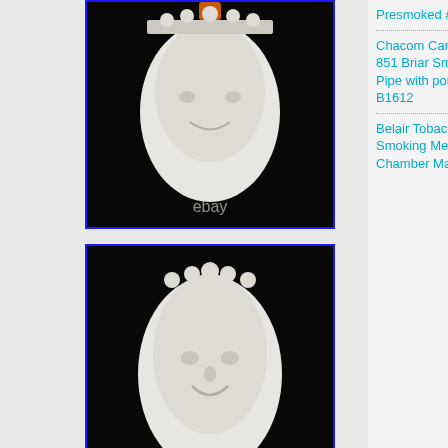[Figure (photo): Photo of a white meerschaum pipe bowl with carved face and ornate decoration, with orange stem visible, black background, 'ebay' watermark]
[Figure (photo): Photo of a white meerschaum pipe bowl with carved face and ornate decoration, black background, 'ebay' watermark and 'AGeremi Yanukasn' text]
[Figure (photo): Partial photo of a meerschaum pipe bowl with red/orange stem, black background]
Presmoked #3
Chacom Carbone 851 Briar Smoking Pipe with pouch B1612
Belair Tobacco Herb Smoking Metal Pipe Chamber Mask